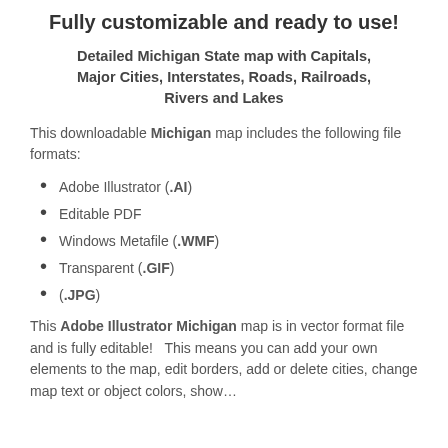Fully customizable and ready to use!
Detailed Michigan State map with Capitals, Major Cities, Interstates, Roads, Railroads, Rivers and Lakes
This downloadable Michigan map includes the following file formats:
Adobe Illustrator (.AI)
Editable PDF
Windows Metafile (.WMF)
Transparent (.GIF)
(.JPG)
This Adobe Illustrator Michigan map is in vector format file and is fully editable!   This means you can add your own elements to the map, edit borders, add or delete cities, change map text or object colors, show…